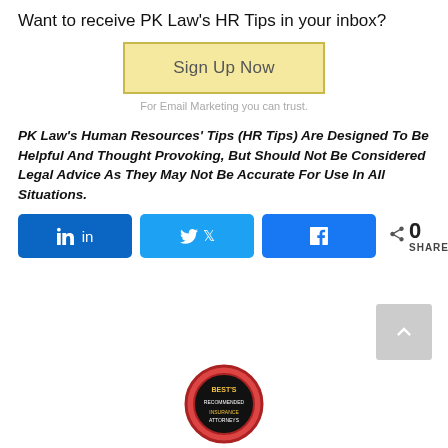Want to receive PK Law's HR Tips in your inbox?
[Figure (other): Yellow 'Sign Up Now' button with gold border]
For Email Marketing you can trust.
PK Law's Human Resources' Tips (HR Tips) Are Designed To Be Helpful And Thought Provoking, But Should Not Be Considered Legal Advice As They May Not Be Accurate For Use In All Situations.
[Figure (other): LinkedIn, Twitter, Facebook share buttons and share count showing 0 SHARES]
[Figure (other): Scroll to top button (grey arrow up)]
[Figure (other): Circular badge/seal at bottom center]